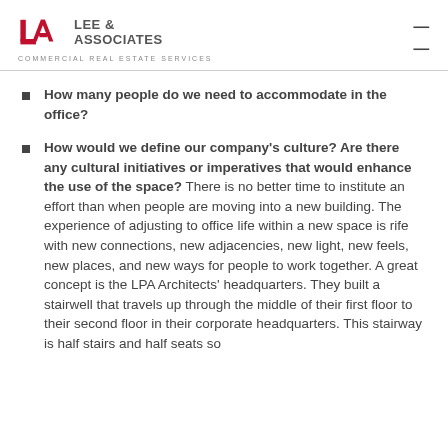LEE & ASSOCIATES COMMERCIAL REAL ESTATE SERVICES
How many people do we need to accommodate in the office?
How would we define our company's culture? Are there any cultural initiatives or imperatives that would enhance the use of the space? There is no better time to institute an effort than when people are moving into a new building. The experience of adjusting to office life within a new space is rife with new connections, new adjacencies, new light, new feels, new places, and new ways for people to work together. A great concept is the LPA Architects' headquarters. They built a stairwell that travels up through the middle of their first floor to their second floor in their corporate headquarters. This stairway is half stairs and half seats so